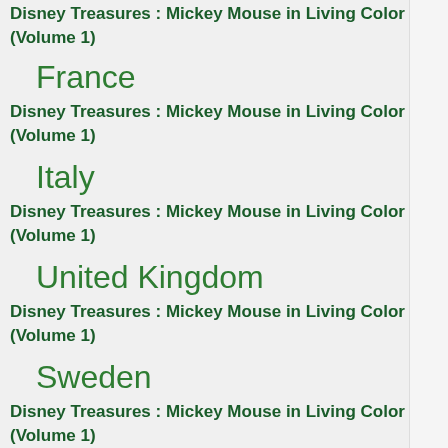Disney Treasures : Mickey Mouse in Living Color (Volume 1)
France
Disney Treasures : Mickey Mouse in Living Color (Volume 1)
Italy
Disney Treasures : Mickey Mouse in Living Color (Volume 1)
United Kingdom
Disney Treasures : Mickey Mouse in Living Color (Volume 1)
Sweden
Disney Treasures : Mickey Mouse in Living Color (Volume 1)